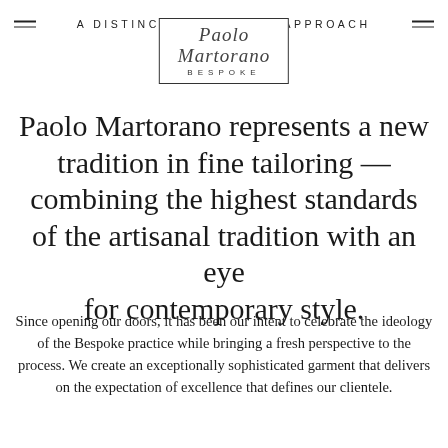[Figure (logo): Paolo Martorano Bespoke logo in a rectangular border with script italic text and 'BESPOKE' in spaced caps below]
A DISTINCTLY AMERICAN APPROACH
Paolo Martorano represents a new tradition in fine tailoring — combining the highest standards of the artisanal tradition with an eye for contemporary style.
Since opening our doors, it has been our intent to celebrate the ideology of the Bespoke practice while bringing a fresh perspective to the process. We create an exceptionally sophisticated garment that delivers on the expectation of excellence that defines our clientele.